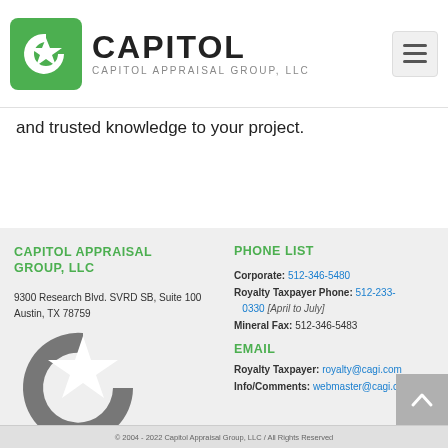[Figure (logo): Capitol Appraisal Group LLC logo — green C with star, bold CAPITOL text, subtext CAPITOL APPRAISAL GROUP, LLC]
and trusted knowledge to your project.
CAPITOL APPRAISAL GROUP, LLC
9300 Research Blvd. SVRD SB, Suite 100
Austin, TX 78759
PHONE LIST
Corporate: 512-346-5480
Royalty Taxpayer Phone: 512-233-0330 [April to July]
Mineral Fax: 512-346-5483
[Figure (logo): Large gray Capitol Appraisal Group C logo icon]
EMAIL
Royalty Taxpayer: royalty@cagi.com
Info/Comments: webmaster@cagi.com
© 2004 - 2022 Capitol Appraisal Group, LLC / All Rights Reserved